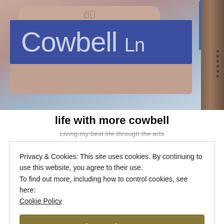[Figure (photo): Photo of a street sign reading 'Cowbell Ln' on a blue rectangular sign with a pink/tan arch top, mounted on a brown pole with a blue cap. Background shows bokeh lights and buildings.]
life with more cowbell
Living my best life through the arts
Privacy & Cookies: This site uses cookies. By continuing to use this website, you agree to their use.
To find out more, including how to control cookies, see here: Cookie Policy

Close and accept